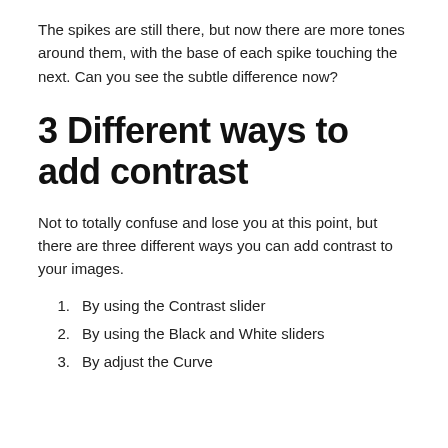The spikes are still there, but now there are more tones around them, with the base of each spike touching the next. Can you see the subtle difference now?
3 Different ways to add contrast
Not to totally confuse and lose you at this point, but there are three different ways you can add contrast to your images.
By using the Contrast slider
By using the Black and White sliders
By adjust the Curve